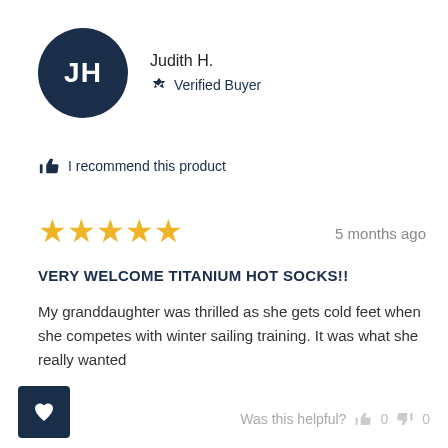[Figure (other): Avatar circle with initials JH on dark navy background, next to reviewer name Judith H. and Verified Buyer badge]
Judith H.
✔ Verified Buyer
👍 I recommend this product
[Figure (other): Five gold stars rating]
5 months ago
VERY WELCOME TITANIUM HOT SOCKS!!
My granddaughter was thrilled as she gets cold feet when she competes with winter sailing training. It was what she really wanted
Was this helpful? 👍 0 👎 0